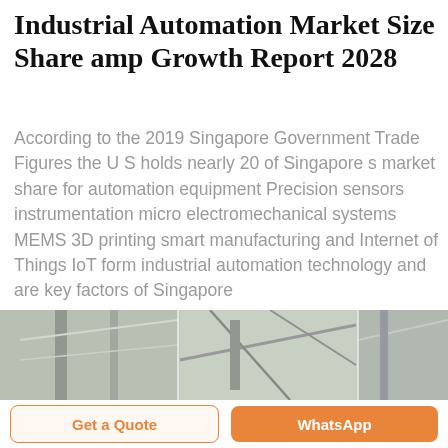Industrial Automation Market Size Share amp Growth Report 2028
According to the 2019 Singapore Government Trade Figures the U S holds nearly 20 of Singapore s market share for automation equipment Precision sensors instrumentation micro electromechanical systems MEMS 3D printing smart manufacturing and Internet of Things IoT form industrial automation technology and are key factors of Singapore
[Figure (photo): Industrial automation equipment photo showing metal frames and structural components, divided into three panels]
Get a Quote
WhatsApp